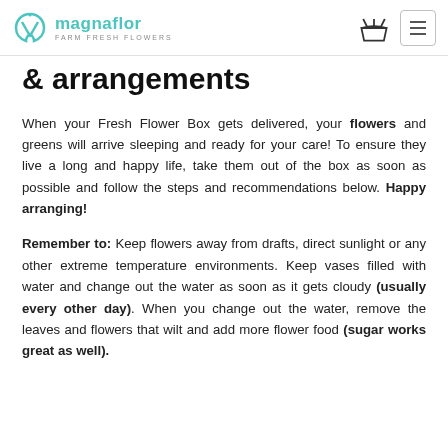magnaflor FARM FRESH FLOWERS
& arrangements
When your Fresh Flower Box gets delivered, your flowers and greens will arrive sleeping and ready for your care! To ensure they live a long and happy life, take them out of the box as soon as possible and follow the steps and recommendations below. Happy arranging!
Remember to: Keep flowers away from drafts, direct sunlight or any other extreme temperature environments. Keep vases filled with water and change out the water as soon as it gets cloudy (usually every other day). When you change out the water, remove the leaves and flowers that wilt and add more flower food (sugar works great as well).